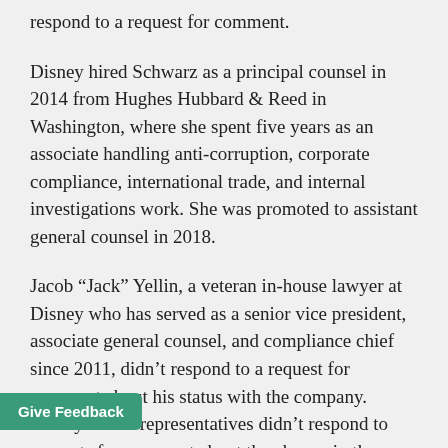respond to a request for comment.
Disney hired Schwarz as a principal counsel in 2014 from Hughes Hubbard & Reed in Washington, where she spent five years as an associate handling anti-corruption, corporate compliance, international trade, and internal investigations work. She was promoted to assistant general counsel in 2018.
Jacob “Jack” Yellin, a veteran in-house lawyer at Disney who has served as a senior vice president, associate general counsel, and compliance chief since 2011, didn’t respond to a request for comment about his status with the company. Disney media representatives didn’t respond to requests for comment about the change in the compliance chief role or Braverman’s future employment status.
...on, a former London-based group chief officer at Disney, left the company last year